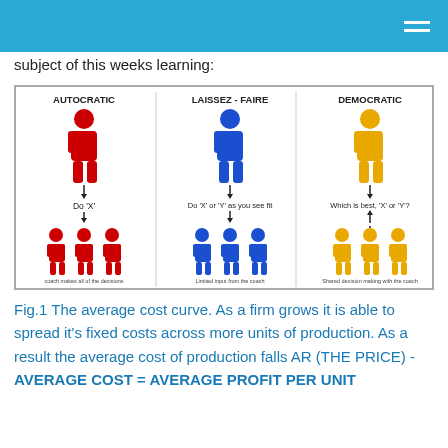subject of this weeks learning:
[Figure (infographic): Three leadership styles shown with person icons: AUTOCRATIC (red figure, arrow down to 'Do X', arrow to 3 red figures, caption 'coach makes all of the decisions'), LAISSEZ-FAIRE (blue figure, arrow down to 'Do X or Y as you see fit', arrow to 3 blue figures, caption 'Limited input from the coach'), DEMOCRATIC (yellow figure, arrow down to 'Which is best, X or Y?', arrow up from 3 yellow figures, caption 'Shared decision making with the coach')]
Fig.1 The average cost curve. As a firm grows it is able to spread it's fixed costs across more units of production. As a result the average cost of production falls AR (THE PRICE) - AVERAGE COST = AVERAGE PROFIT PER UNIT